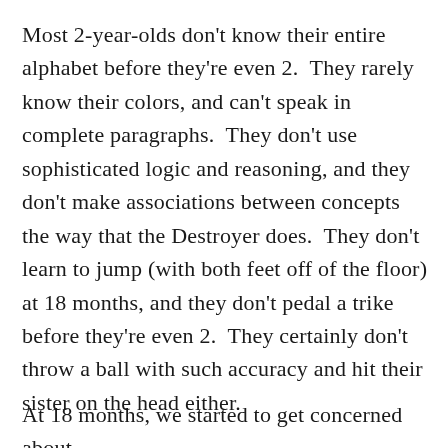Most 2-year-olds don't know their entire alphabet before they're even 2.  They rarely know their colors, and can't speak in complete paragraphs.  They don't use sophisticated logic and reasoning, and they don't make associations between concepts the way that the Destroyer does.  They don't learn to jump (with both feet off of the floor) at 18 months, and they don't pedal a trike before they're even 2.  They certainly don't throw a ball with such accuracy and hit their sister on the head either.
At 18 months, we started to get concerned about